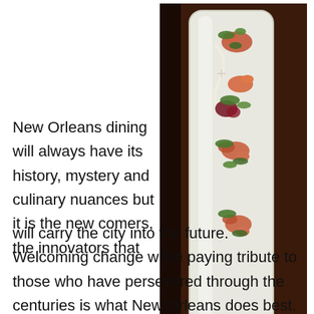[Figure (photo): Overhead view of a long white rectangular plate with an elegantly plated seafood dish featuring shrimp, greens, radish slices, and beet, presented on a dark wooden surface.]
New Orleans dining will always have its history, mystery and culinary nuances but it is the new comers, the innovators that will carry the city into the future. Welcoming change while paying tribute to those who have persevered through the centuries is what New Orleans does best. Most aptly stated in Love